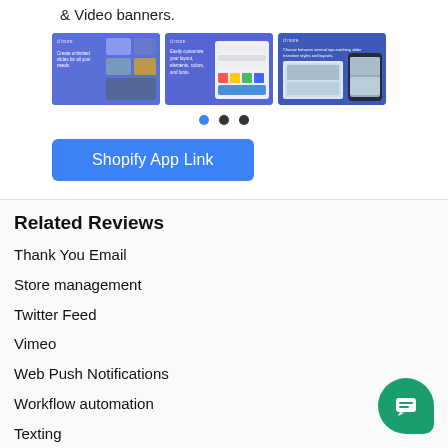& Video banners.
[Figure (screenshot): Three screenshots of a Shopify app interface showing slider and banner creation tools on a purple/blue background]
Shopify App Link
Related Reviews
Thank You Email
Store management
Twitter Feed
Vimeo
Web Push Notifications
Workflow automation
Texting